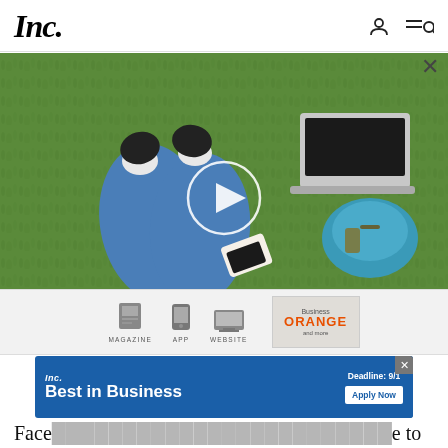Inc.
[Figure (photo): Person lying on green grass with laptop, blue bag, and phone visible from overhead; circular white play button overlay indicating a video thumbnail]
[Figure (screenshot): Ad strip showing magazine, app, website icons with labels MAGAZINE, APP, WEBSITE, and an ORANGE magazine cover]
[Figure (screenshot): Inc. Best in Business advertisement banner with blue background, deadline 9/1, and Apply Now button]
Face e to